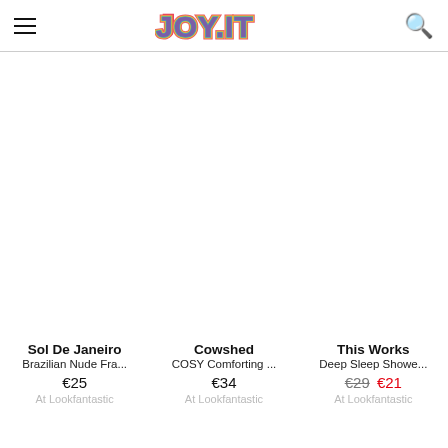JOY.IT
Sol De Janeiro
Brazilian Nude Fra...
€25
At Lookfantastic
Cowshed
COSY Comforting ...
€34
At Lookfantastic
This Works
Deep Sleep Showe...
€29 €21
At Lookfantastic